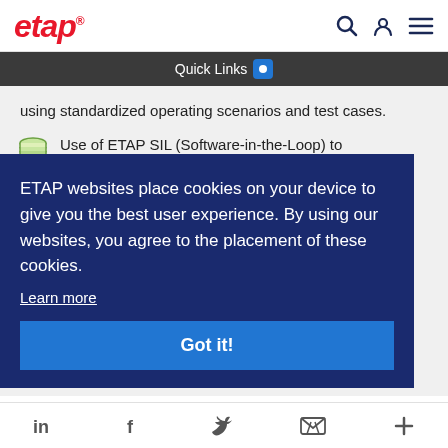etap
Quick Links
using standardized operating scenarios and test cases.
Use of ETAP SIL (Software-in-the-Loop) to
ETAP websites place cookies on your device to give you the best user experience. By using our websites, you agree to the placement of these cookies.
Learn more
Got it!
in  f  Twitter  Email  +